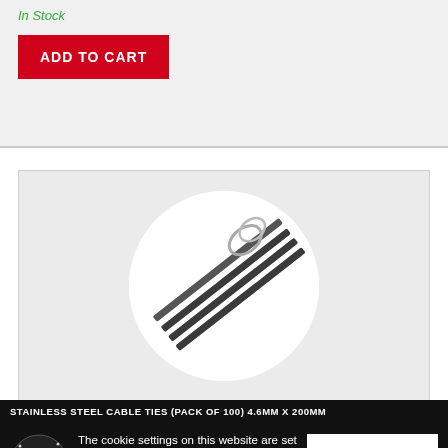In Stock
ADD TO CART
[Figure (photo): Stainless steel cable ties shown in a circular white vignette on grey background — multiple dark metallic strips fanned out with a looped wire end visible at top right]
STAINLESS STEEL CABLE TIES (PACK OF 100) 4.6MM X 200MM
The cookie settings on this website are set to 'allow all cookies' to give you the very best experience. By clicking 'I Understand', you consent to 'allow all cookies'. If you want, you can change your settings at any time by visiting our cookies page. More About Cookies
I UNDERSTAND